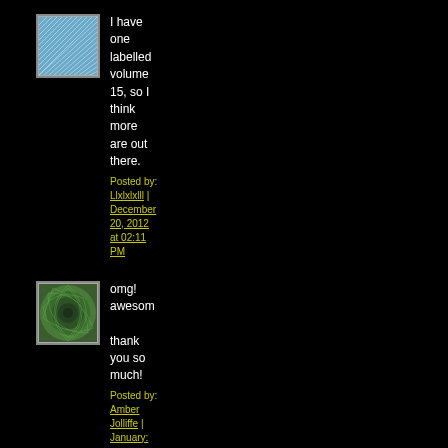[Figure (illustration): Blue swirl/fan pattern avatar image]
I have one labelled volume 15, so I think more are out there.
Posted by: Llxlxlxlll | December 20, 2012 at 02:11 PM
[Figure (illustration): Green spiral pattern avatar image]
omg! awesome thank you so much!
Posted by: Amber Jolliffe | January: